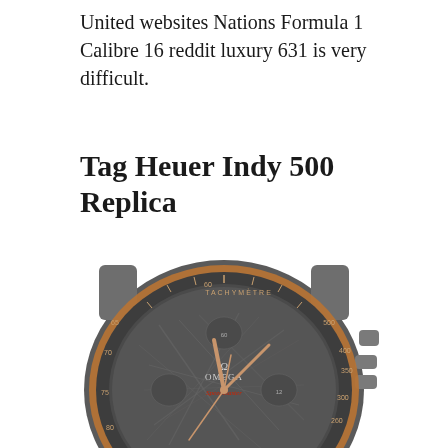United websites Nations Formula 1 Calibre 16 reddit luxury 631 is very difficult.
Tag Heuer Indy 500 Replica
[Figure (photo): Close-up photograph of an Omega Speedmaster watch with a dark meteorite dial, rose gold/copper colored hands and bezel trim, tachymetre bezel, and chronograph subdials. The watch case and pushers are visible showing a luxury sports watch design.]